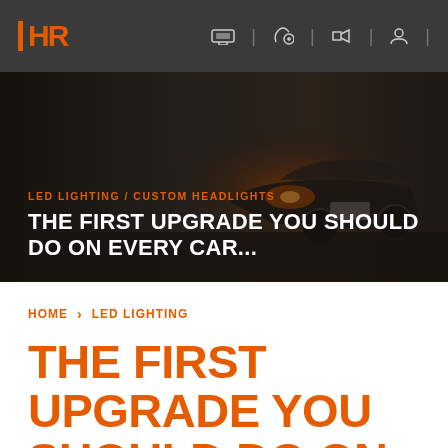HR — navigation bar with logo and icons
[Figure (photo): Dark hero banner with a car in background, showing category 'LED LIGHTING / CUSTOM HEADLIGHTS' and title 'THE FIRST UPGRADE YOU SHOULD DO ON EVERY CAR...']
LED LIGHTING / CUSTOM HEADLIGHTS
THE FIRST UPGRADE YOU SHOULD DO ON EVERY CAR...
HOME > LED LIGHTING
THE FIRST UPGRADE YOU SHOULD DO ON EVERY CAR...